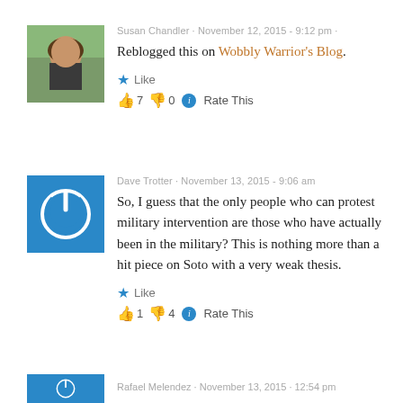[Figure (photo): Profile photo of Susan Chandler - woman outdoors]
Susan Chandler · November 12, 2015 - 9:12 pm ·
Reblogged this on Wobbly Warrior's Blog.
★ Like
👍 7 👎 0 ℹ Rate This
[Figure (logo): Blue square power button icon avatar for Dave Trotter]
Dave Trotter · November 13, 2015 - 9:06 am
So, I guess that the only people who can protest military intervention are those who have actually been in the military? This is nothing more than a hit piece on Soto with a very weak thesis.
★ Like
👍 1 👎 4 ℹ Rate This
[Figure (photo): Partial blue avatar for Rafael Melendez]
Rafael Melendez · November 13, 2015 · 12:54 pm